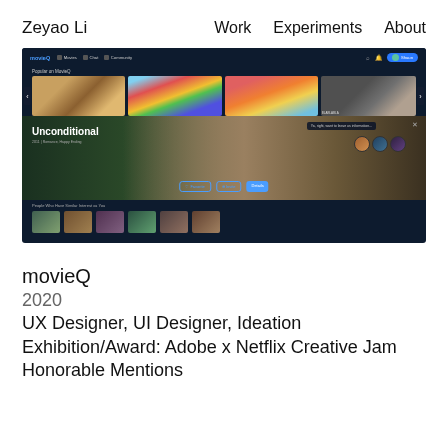Zeyao Li  Work  Experiments  About
[Figure (screenshot): Screenshot of movieQ app UI showing a dark-themed movie streaming interface with navigation bar, popular movies thumbnails, a hero section featuring 'Unconditional', action buttons (Favorite, Invite, Details), and a 'People Who Have Similar Interests as You' section with user avatars.]
movieQ
2020
UX Designer, UI Designer, Ideation
Exhibition/Award: Adobe x Netflix Creative Jam Honorable Mentions